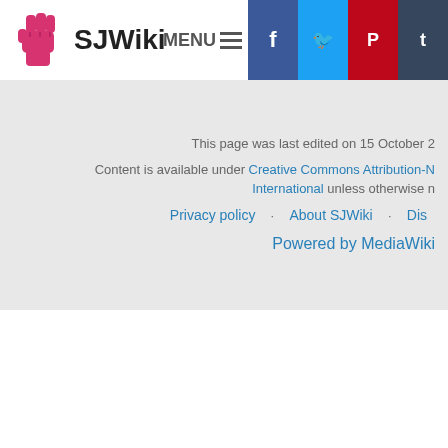SJWiki
This page was last edited on 15 October 2
Content is available under Creative Commons Attribution-N International unless otherwise n
Privacy policy · About SJWiki · Dis
Powered by MediaWiki